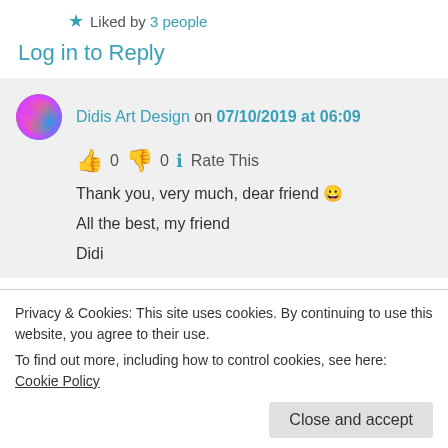★ Liked by 3 people
Log in to Reply
Didis Art Design on 07/10/2019 at 06:09
👍 0 👎 0 ℹ Rate This
Thank you, very much, dear friend 🙂
All the best, my friend
Didi
Privacy & Cookies: This site uses cookies. By continuing to use this website, you agree to their use.
To find out more, including how to control cookies, see here: Cookie Policy
Close and accept